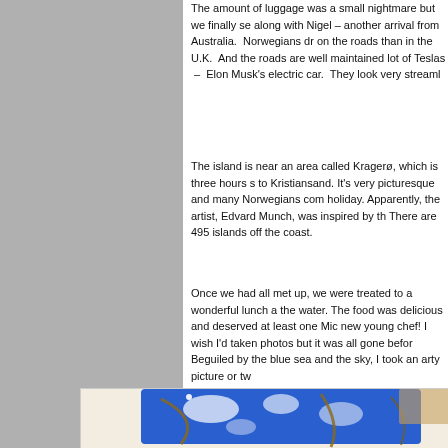The amount of luggage was a small nightmare but we finally se along with Nigel – another arrival from Australia.  Norwegians dr on the roads than in the U.K.  And the roads are well maintained lot of Teslas  –  Elon Musk's electric car.  They look very streaml
The island is near an area called Kragerø, which is three hours s to Kristiansand. It's very picturesque and many Norwegians com holiday. Apparently, the artist, Edvard Munch, was inspired by th There are 495 islands off the coast.
Once we had all met up, we were treated to a wonderful lunch a the water. The food was delicious and deserved at least one Mic new young chef! I wish I'd taken photos but it was all gone befor Beguiled by the blue sea and the sky, I took an arty picture or tw
[Figure (photo): A photograph showing a blue-painted artwork or ceramic object with white and gold/brown textural details, placed on a light beige/cream background surface.]